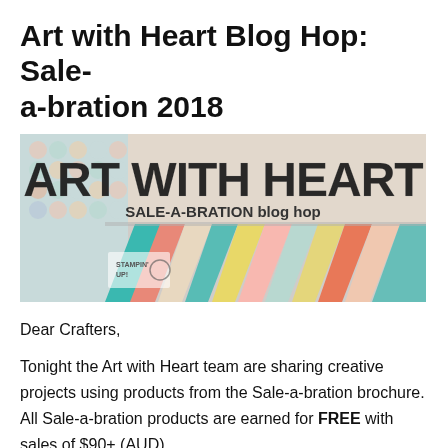Art with Heart Blog Hop: Sale-a-bration 2018
[Figure (illustration): Art with Heart Sale-a-bration blog hop banner image featuring colorful patterned paper strips and the text 'ART WITH HEART' in large bold letters and 'SALE-A-BRATION blog hop' below it, with a Stampin' Up logo in the lower left corner.]
Dear Crafters,
Tonight the Art with Heart team are sharing creative projects using products from the Sale-a-bration brochure. All Sale-a-bration products are earned for FREE with sales of $90+ (AUD).